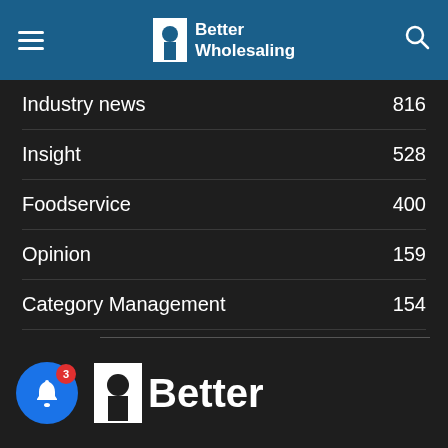Better Wholesaling
Industry news 816
Insight 528
Foodservice 400
Opinion 159
Category Management 154
Coronavirus 153
Features 118
Industry Profile 117
[Figure (logo): Better Wholesaling logo with bell notification button showing badge count 3 and partial Better Wholesaling logo at bottom]